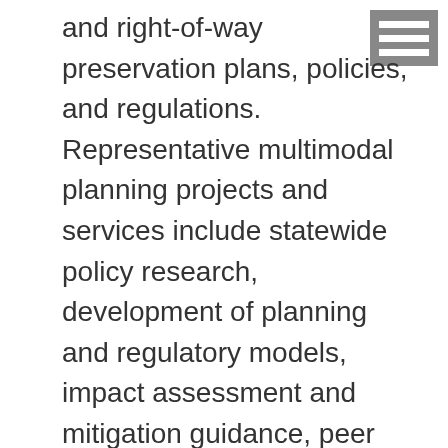and right-of-way preservation plans, policies, and regulations. Representative multimodal planning projects and services include statewide policy research, development of planning and regulatory models, impact assessment and mitigation guidance, peer review and technology transfer to local government agencies. Public involvement projects include state of the practice assessments, best practices research, and public involvement performance measurement. Work in metropolitan transportation planning has included policy analysis, MPO organizational structure and staffing, regional coordination, programming and system development, finance, funding, decision-making, and performance measurement. The